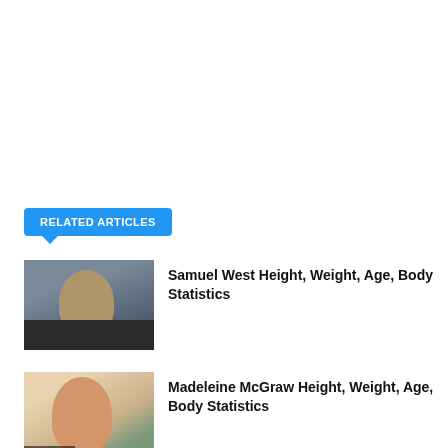RELATED ARTICLES
[Figure (photo): Photo of Samuel West, a middle-aged man with beard, labeled Director/Producer]
Samuel West Height, Weight, Age, Body Statistics
[Figure (photo): Photo of Madeleine McGraw, a young girl with long brown hair, labeled Filmstars]
Madeleine McGraw Height, Weight, Age, Body Statistics